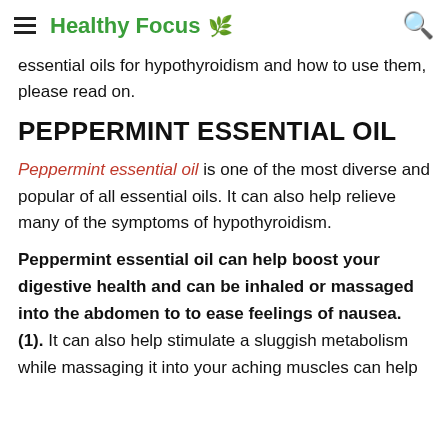Healthy Focus
essential oils for hypothyroidism and how to use them, please read on.
PEPPERMINT ESSENTIAL OIL
Peppermint essential oil is one of the most diverse and popular of all essential oils. It can also help relieve many of the symptoms of hypothyroidism.
Peppermint essential oil can help boost your digestive health and can be inhaled or massaged into the abdomen to to ease feelings of nausea. (1). It can also help stimulate a sluggish metabolism while massaging it into your aching muscles can help